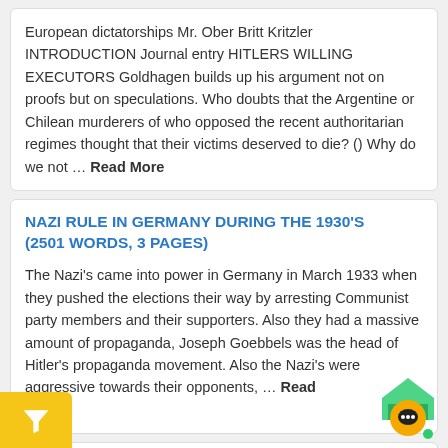European dictatorships Mr. Ober Britt Kritzler INTRODUCTION Journal entry HITLERS WILLING EXECUTORS Goldhagen builds up his argument not on proofs but on speculations. Who doubts that the Argentine or Chilean murderers of who opposed the recent authoritarian regimes thought that their victims deserved to die? () Why do we not … Read More
NAZI RULE IN GERMANY DURING THE 1930'S (2501 WORDS, 3 PAGES)
The Nazi's came into power in Germany in March 1933 when they pushed the elections their way by arresting Communist party members and their supporters. Also they had a massive amount of propaganda, Joseph Goebbels was the head of Hitler's propaganda movement. Also the Nazi's were aggressive towards their opponents, … Read More
A HISTORY OF THE DEVELOPMENT OF THE NAZI PARTY